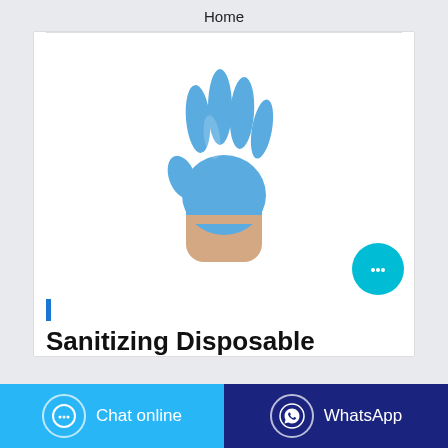Home
[Figure (photo): A hand wearing a blue disposable nitrile/latex glove raised with fingers spread, shown against a white background.]
Sanitizing Disposable
Chat online
WhatsApp